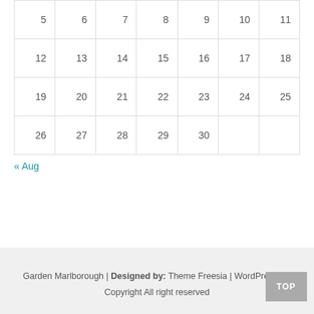| 5 | 6 | 7 | 8 | 9 | 10 | 11 |
| 12 | 13 | 14 | 15 | 16 | 17 | 18 |
| 19 | 20 | 21 | 22 | 23 | 24 | 25 |
| 26 | 27 | 28 | 29 | 30 |  |  |
« Aug
Garden Marlborough | Designed by: Theme Freesia | WordPress | © Copyright All right reserved